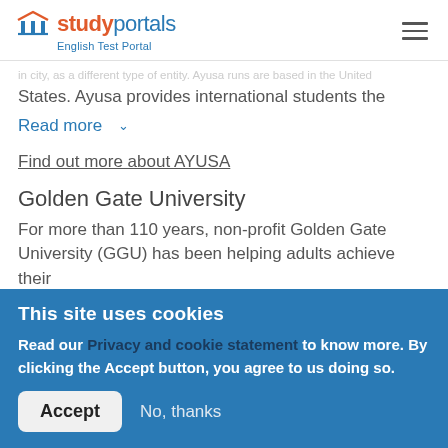studyportals English Test Portal
States. Ayusa provides international students the
Read more
Find out more about AYUSA
Golden Gate University
For more than 110 years, non-profit Golden Gate University (GGU) has been helping adults achieve their
This site uses cookies
Read our Privacy and cookie statement to know more. By clicking the Accept button, you agree to us doing so.
Accept  No, thanks